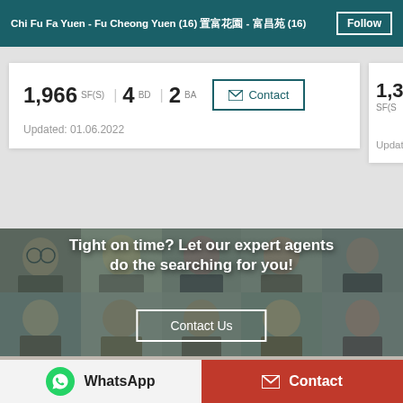Chi Fu Fa Yuen - Fu Cheong Yuen (16) 置富花園 - 富昌苑 (16)
1,966 SF(S) | 4 BD | 2 BA
Updated: 01.06.2022
1,363 SF(S)
Updated: 01
[Figure (photo): Grid of professional real estate agent headshots, overlaid with teal-tinted semi-transparent layer]
Tight on time? Let our expert agents do the searching for you!
WhatsApp | Contact